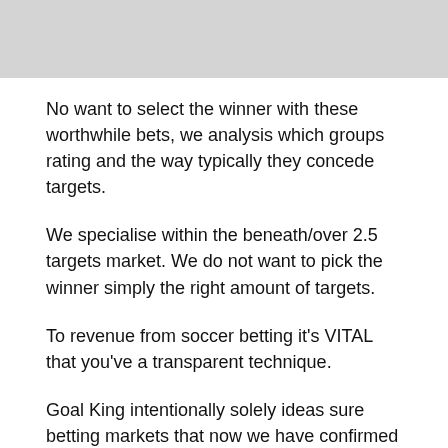[Figure (other): Gray decorative bar at top of page]
No want to select the winner with these worthwhile bets, we analysis which groups rating and the way typically they concede targets.
We specialise within the beneath/over 2.5 targets market. We do not want to pick the winner simply the right amount of targets.
To revenue from soccer betting it's VITAL that you've a transparent technique.
Goal King intentionally solely ideas sure betting markets that now we have confirmed to be worthwhile in our testing.
By betting on Both Teams to Score (BTTS) and